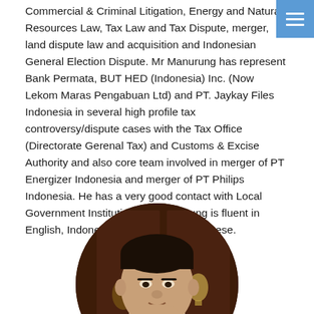Commercial & Criminal Litigation, Energy and Natural Resources Law, Tax Law and Tax Dispute, merger, land dispute law and acquisition and Indonesian General Election Dispute. Mr Manurung has represent Bank Permata, BUT HED (Indonesia) Inc. (Now Lekom Maras Pengabuan Ltd) and PT. Jaykay Files Indonesia in several high profile tax controversy/dispute cases with the Tax Office (Directorate Gerenal Tax) and Customs & Excise Authority and also core team involved in merger of PT Energizer Indonesia and merger of PT Philips Indonesia. He has a very good contact with Local Government Institution. Mr. Manurung is fluent in English, Indonesian and speaks Bataknese.
[Figure (photo): Circular cropped portrait photo of Mr. Manurung, a middle-aged Asian man with dark hair, wearing a light yellow collared shirt with green/white striped collar detail, seated in front of a dark wooden background.]